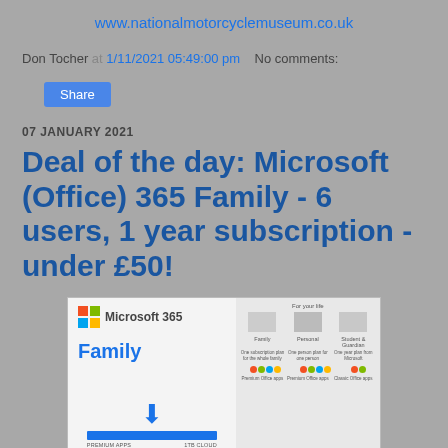www.nationalmotorcyclemuseum.co.uk
Don Tocher at 1/11/2021 05:49:00 pm   No comments:
Share
07 JANUARY 2021
Deal of the day: Microsoft (Office) 365 Family - 6 users, 1 year subscription - under £50!
[Figure (photo): Microsoft 365 Family product box showing the Microsoft 365 logo, the word Family in blue, a down arrow, and a blue bar at the bottom. The right side shows a features comparison table for Family, Personal, and Student/Guardian plans.]